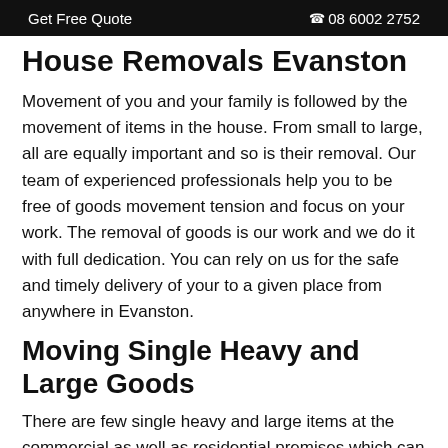Get Free Quote  📞08 6002 2752
House Removals Evanston
Movement of you and your family is followed by the movement of items in the house. From small to large, all are equally important and so is their removal. Our team of experienced professionals help you to be free of goods movement tension and focus on your work. The removal of goods is our work and we do it with full dedication. You can rely on us for the safe and timely delivery of your to a given place from anywhere in Evanston.
Moving Single Heavy and  Large Goods
There are few single heavy and large items at the commercial as well as residential premises which can